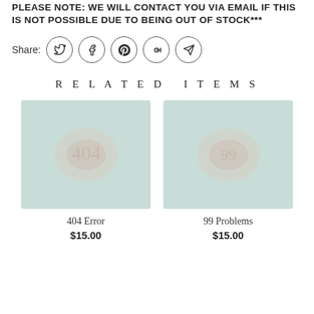PLEASE NOTE: WE WILL CONTACT YOU VIA EMAIL IF THIS IS NOT POSSIBLE DUE TO BEING OUT OF STOCK***
Share:
RELATED ITEMS
[Figure (photo): Product thumbnail for 404 Error item, muted teal/mint background with blurred design]
404 Error
$15.00
[Figure (photo): Product thumbnail for 99 Problems item, muted teal/mint background with blurred design]
99 Problems
$15.00